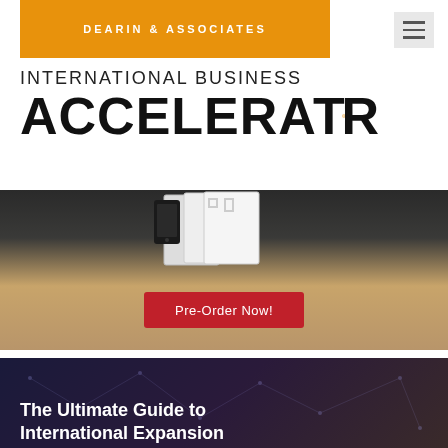DEARIN & ASSOCIATES
INTERNATIONAL BUSINESS ACCELERATOR
[Figure (screenshot): Hero image showing an open book/maze on a wooden surface with a red Pre-Order Now! button overlay]
The Ultimate Guide to International Expansion